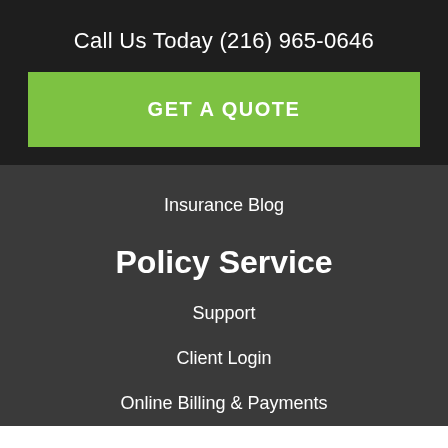Call Us Today (216) 965-0646
GET A QUOTE
Insurance Blog
Policy Service
Support
Client Login
Online Billing & Payments